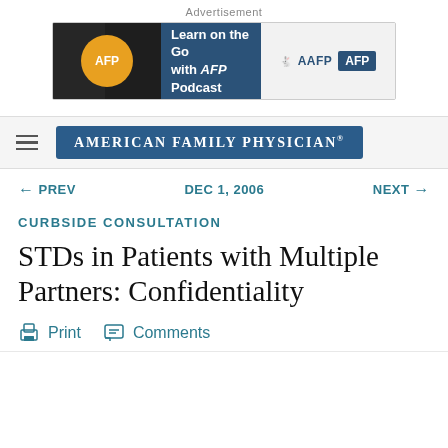Advertisement
[Figure (other): AFP Podcast advertisement banner with AAFP and AFP logos. Text reads: Learn on the Go with AFP Podcast]
AMERICAN FAMILY PHYSICIAN
← PREV   DEC 1, 2006   NEXT →
CURBSIDE CONSULTATION
STDs in Patients with Multiple Partners: Confidentiality
Print   Comments